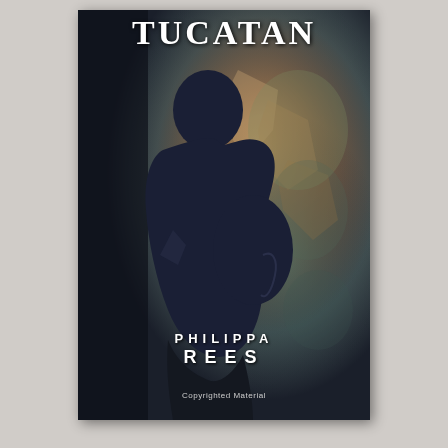[Figure (photo): Book cover of 'Tucatan' by Philippa Rees. Dark atmospheric cover showing a silhouette of a pregnant woman with bowed head against a crumbling stone wall background with earth tones. Title appears at top in white bold serif letters, author name in white capital letters near bottom.]
TUCATAN
PHILIPPA REES
Copyrighted Material